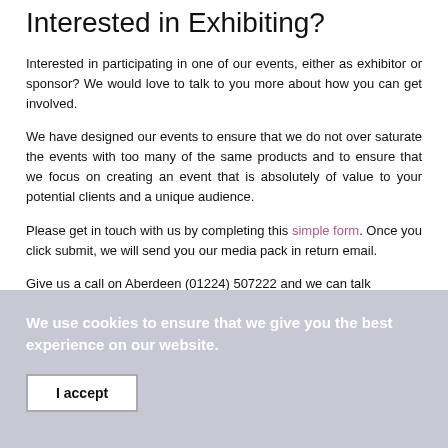Interested in Exhibiting?
Interested in participating in one of our events, either as exhibitor or sponsor? We would love to talk to you more about how you can get involved.
We have designed our events to ensure that we do not over saturate the events with too many of the same products and to ensure that we focus on creating an event that is absolutely of value to your potential clients and a unique audience.
Please get in touch with us by completing this simple form. Once you click submit, we will send you our media pack in return email.
Give us a call on Aberdeen (01224) 507222 and we can talk
We use cookies to ensure that we give you the best experience on our website.
I accept